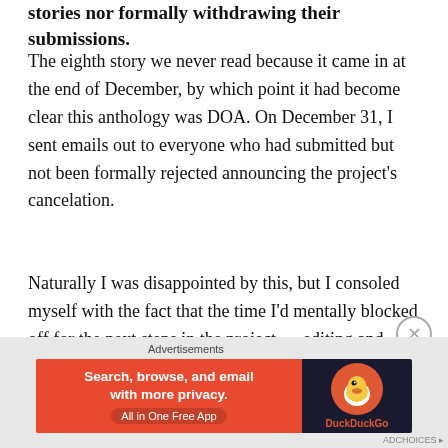stories nor formally withdrawing their submissions.
The eighth story we never read because it came in at the end of December, by which point it had become clear this anthology was DOA. On December 31, I sent emails out to everyone who had submitted but not been formally rejected announcing the project’s cancelation.
Naturally I was disappointed by this, but I consoled myself with the fact that the time I’d mentally blocked off for the next steps in the project — editing and formatting the manuscript, sending out contracts, prepping the Kickstarter campaign to fund everything,
Advertisements
[Figure (infographic): DuckDuckGo advertisement banner: orange left panel with text 'Search, browse, and email with more privacy. All in One Free App', dark right panel with DuckDuckGo duck logo and brand name.]